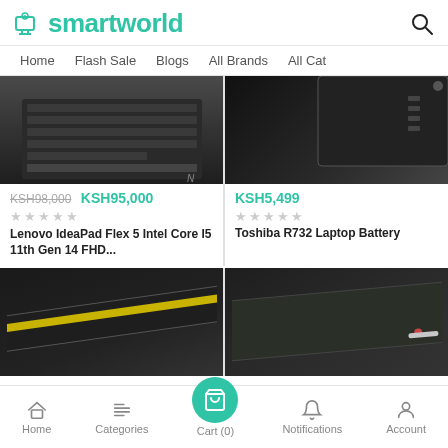smartworld
Home | Flash Sale | Blogs | All Brands | All Cat
[Figure (screenshot): Lenovo IdeaPad laptop keyboard top view, dark background]
KSH98,000  KSH95,000
★★★★★
Lenovo IdeaPad Flex 5 Intel Core I5 11th Gen 14 FHD...
[Figure (screenshot): Toshiba R732 Laptop Battery corner view, dark]
KSH5,499
★★★★★
Toshiba R732 Laptop Battery
[Figure (screenshot): Laptop battery with yellow strip, diagonal view]
[Figure (screenshot): Laptop battery dark green/black, diagonal view]
Home | Categories | Cart (0) | Notifications | Account